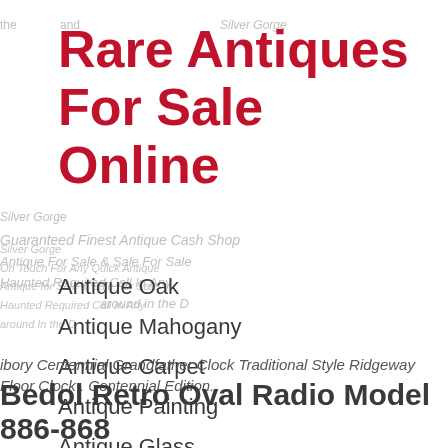Rare Antiques For Sale Online
Antique Oak
Antique Mahogany
Antique Carpet
Antique Painting
Antique Glass
Antique Plate
ibory Centennial Grandfather Clock Traditional Style Ridgeway Floor Clock . Centennial Edition.
Bedol Retro Oval Radio Model 886-868